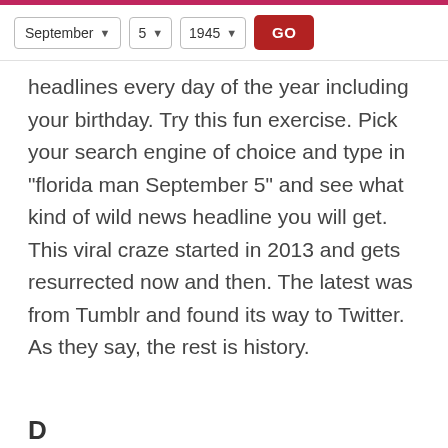September 5  1945  GO
headlines every day of the year including your birthday. Try this fun exercise. Pick your search engine of choice and type in “florida man September 5” and see what kind of wild news headline you will get. This viral craze started in 2013 and gets resurrected now and then. The latest was from Tumblr and found its way to Twitter. As they say, the rest is history.
D